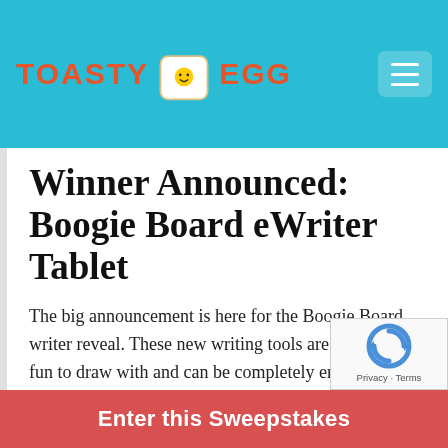TOASTY EGG
Winner Announced: Boogie Board eWriter Tablet
The big announcement is here for the Boogie Board writer reveal. These new writing tools are incredibly fun to draw with and can be completely erased with just one click of a button. You can also save your notes and things to your phone through the built
Enter this Sweepstakes